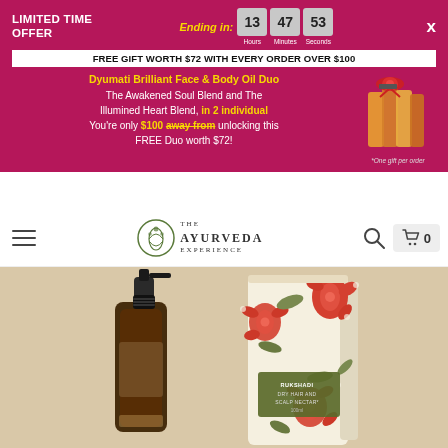LIMITED TIME OFFER | Ending in: 13 Hours 47 Minutes 53 Seconds
FREE GIFT WORTH $72 WITH EVERY ORDER OVER $100
Dyumati Brilliant Face & Body Oil Duo The Awakened Soul Blend and The Illumined Heart Blend, in 2 individual You're only $100 away from unlocking this FREE Duo worth $72!
[Figure (photo): Gift set of facial/body oil bottles with red ribbon bow]
*One gift per order
[Figure (logo): The Ayurveda Experience logo with leaf/lotus icon]
[Figure (photo): Ayurvedic product photo: dark amber spray bottle and floral patterned box labeled RUKSHADI DRY HAIR AND SCALP NECTAR on beige/tan background]